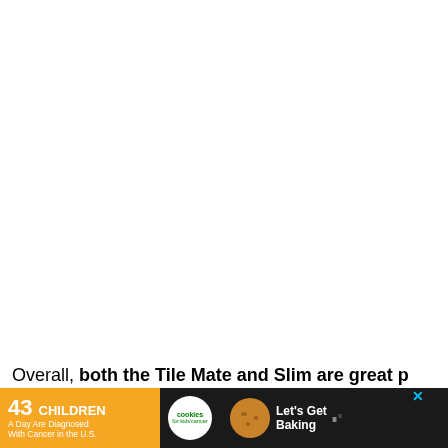[Figure (other): Blank white area occupying the upper portion of the page]
Overall, both the Tile Mate and Slim are great p
[Figure (other): Advertisement banner: '43 CHILDREN A Day Are Diagnosed With Cancer in the U.S.' with Cookies for Kids' Cancer logo and 'Let's Get Baking' text, dark background with orange left panel]